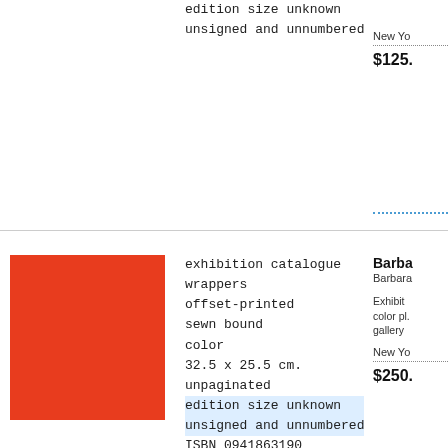edition size unknown
unsigned and unnumbered
New Yo
$125.
[Figure (photo): Red square book cover]
exhibition catalogue
wrappers
offset-printed
sewn bound
color
32.5 x 25.5 cm.
unpaginated
edition size unknown
unsigned and unnumbered
ISBN 0941863190
Barba
Barbara
Exhibition catalogue with color pl. gallery
New Yo
$250.